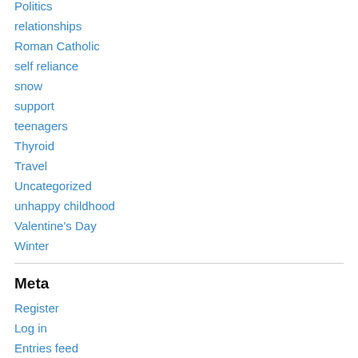Politics
relationships
Roman Catholic
self reliance
snow
support
teenagers
Thyroid
Travel
Uncategorized
unhappy childhood
Valentine's Day
Winter
Meta
Register
Log in
Entries feed
Comments feed